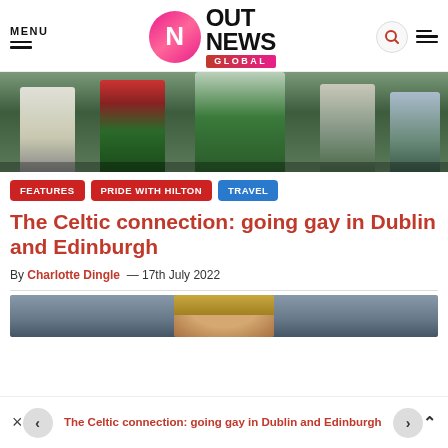MENU — Out News Global
[Figure (photo): Hero image showing people walking, some wearing kilts, lower bodies visible]
FEATURES
PRIDE WITH HILTON
TRAVEL
The Celtic connection: going gay in Dublin and Edinburgh
By Charlotte Dingle — 17th July 2022
[Figure (photo): Partial photo of a person with blonde hair]
The Celtic connection: going gay in Dublin and Edinburgh